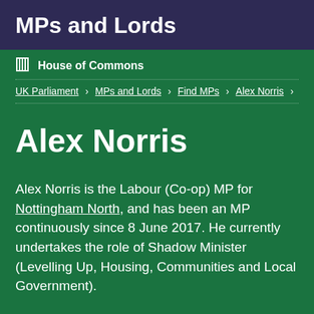MPs and Lords
House of Commons
UK Parliament > MPs and Lords > Find MPs > Alex Norris > W
Alex Norris
Alex Norris is the Labour (Co-op) MP for Nottingham North, and has been an MP continuously since 8 June 2017. He currently undertakes the role of Shadow Minister (Levelling Up, Housing, Communities and Local Government).
utions | Written questions | Registered Interests